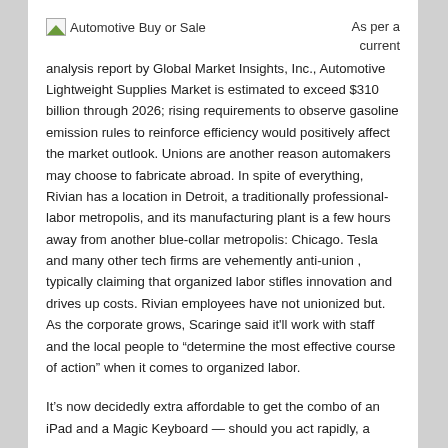Automotive Buy or Sale
As per a current analysis report by Global Market Insights, Inc., Automotive Lightweight Supplies Market is estimated to exceed $310 billion through 2026; rising requirements to observe gasoline emission rules to reinforce efficiency would positively affect the market outlook. Unions are another reason automakers may choose to fabricate abroad. In spite of everything, Rivian has a location in Detroit, a traditionally professional-labor metropolis, and its manufacturing plant is a few hours away from another blue-collar metropolis: Chicago. Tesla and many other tech firms are vehemently anti-union , typically claiming that organized labor stifles innovation and drives up costs. Rivian employees have not unionized but. As the corporate grows, Scaringe said it'll work with staff and the local people to “determine the most effective course of action” when it comes to organized labor.
It’s now decidedly extra affordable to get the combo of an iPad and a Magic Keyboard — should you act rapidly, a